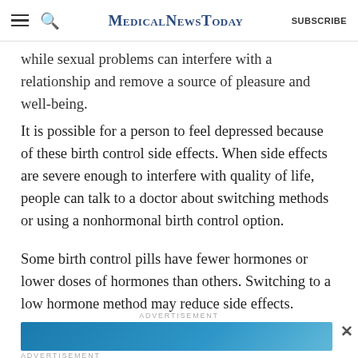MedicalNewsToday | SUBSCRIBE
while sexual problems can interfere with a relationship and remove a source of pleasure and well-being.
It is possible for a person to feel depressed because of these birth control side effects. When side effects are severe enough to interfere with quality of life, people can talk to a doctor about switching methods or using a nonhormonal birth control option.
Some birth control pills have fewer hormones or lower doses of hormones than others. Switching to a low hormone method may reduce side effects.
[Figure (screenshot): Advertisement banner with teal/blue background showing partial image]
[Figure (screenshot): MNT newsletter advertisement banner: 'Get the MNT newsletter - Subscribe to receive our top news articles' with black SUBSCRIBE button on blue background with globe graphic]